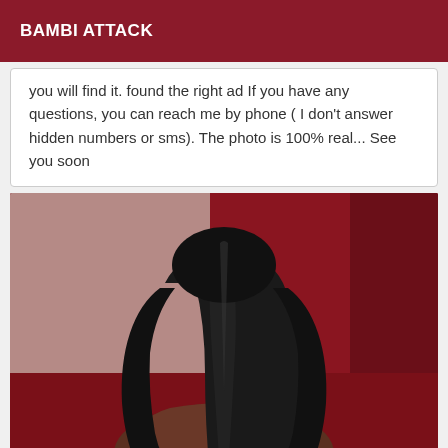BAMBI ATTACK
you will find it. found the right ad If you have any questions, you can reach me by phone ( I don't answer hidden numbers or sms). The photo is 100% real... See you soon
[Figure (photo): Person with long dark black hair viewed from behind, sitting against a dark red/maroon wall background]